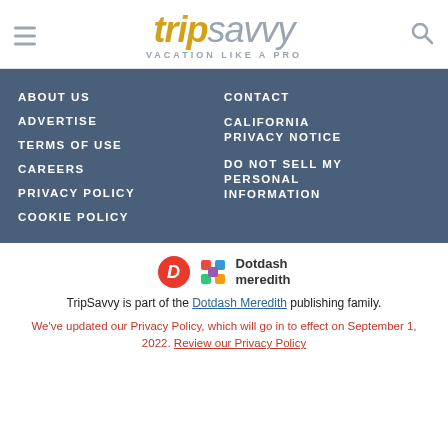[Figure (logo): TripSavvy logo with hamburger menu icon on left and search icon on right. Logo reads 'trip' in gold italic bold and 'savvy' in steel blue italic. Tagline: VACATION LIKE A PRO]
ABOUT US
CONTACT
ADVERTISE
CALIFORNIA PRIVACY NOTICE
TERMS OF USE
DO NOT SELL MY PERSONAL INFORMATION
CAREERS
PRIVACY POLICY
COOKIE POLICY
[Figure (logo): Dotdash Meredith logo: red circle with italic D, colorful diamond grid pattern, and text 'Dotdash meredith']
TripSavvy is part of the Dotdash Meredith publishing family.
We've updated our Privacy Policy, which will go in to effect on September 1, 2022. Review our Privacy Policy